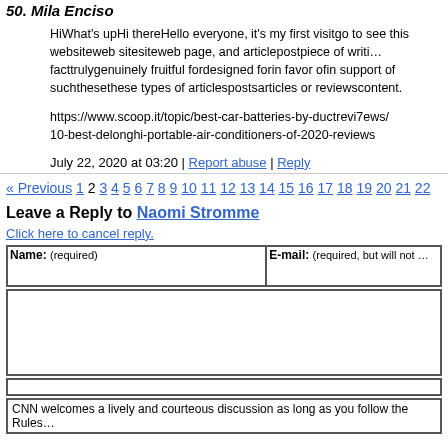50. Mila Enciso
HiWhat's upHi thereHello everyone, it's my first visitgo to see this websiteweb sitesiteweb page, and articlepostpiece of writing facttrulygenuinely fruitful fordesigned forin favor ofin support of suchthesethese types of articlespostsarticles or reviewscontent.
https://www.scoop.it/topic/best-car-batteries-by-ductrevi7ews/10-best-delonghi-portable-air-conditioners-of-2020-reviews
July 22, 2020 at 03:20 | Report abuse | Reply
« Previous 1 2 3 4 5 6 7 8 9 10 11 12 13 14 15 16 17 18 19 20 21 22
Leave a Reply to Naomi Stromme
Click here to cancel reply.
| Name: (required) | E-mail: (required, but will not …) |
| --- | --- |
|  |  |